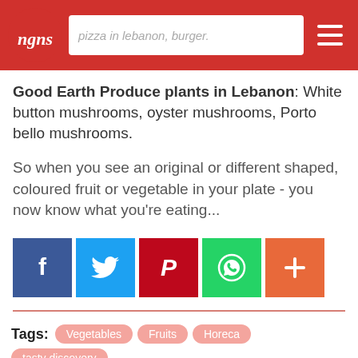pizza in lebanon, burger.
Good Earth Produce plants in Lebanon: White button mushrooms, oyster mushrooms, Porto bello mushrooms.
So when you see an original or different shaped, coloured fruit or vegetable in your plate - you now know what you're eating...
[Figure (other): Social sharing buttons: Facebook (blue), Twitter (light blue), Pinterest (red), WhatsApp (green), More/Plus (orange-red)]
Tags: Vegetables  Fruits  Horeca  tasty discovery
Categories: Tasty Discoveries